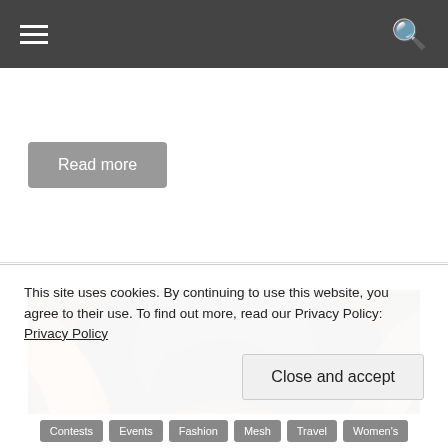Navigation header with hamburger menu and search icon
Read more
[Figure (illustration): Digital portrait illustration of a dark-skinned woman with braided hair, surrounded by tropical leaves and butterflies with gold spots]
This site uses cookies. By continuing to use this website, you agree to their use. To find out more, read our Privacy Policy: Privacy Policy
Close and accept
Contests  Events  Fashion  Mesh  Travel  Women's